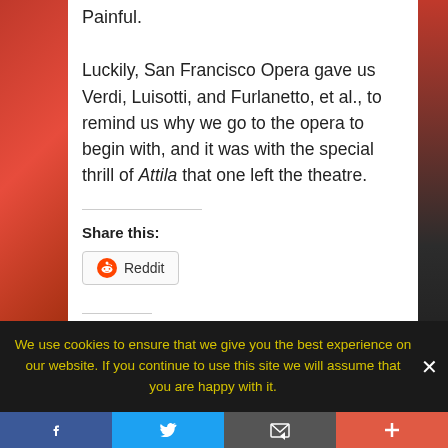Painful.
Luckily, San Francisco Opera gave us Verdi, Luisotti, and Furlanetto, et al., to remind us why we go to the opera to begin with, and it was with the special thrill of Attila that one left the theatre.
Share this:
Reddit
Related
[Figure (photo): Dark theatrical photo thumbnail 1]
[Figure (photo): Dark theatrical photo thumbnail 2 with orange/fire tones]
We use cookies to ensure that we give you the best experience on our website. If you continue to use this site we will assume that you are happy with it.